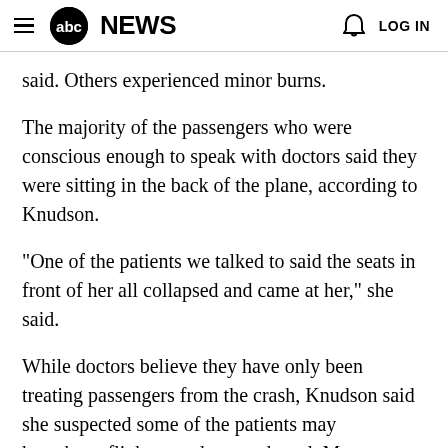abc NEWS   LOG IN
said. Others experienced minor burns.
The majority of the passengers who were conscious enough to speak with doctors said they were sitting in the back of the plane, according to Knudson.
"One of the patients we talked to said the seats in front of her all collapsed and came at her," she said.
While doctors believe they have only been treating passengers from the crash, Knudson said she suspected some of the patients may have been flight attendants on board. Many